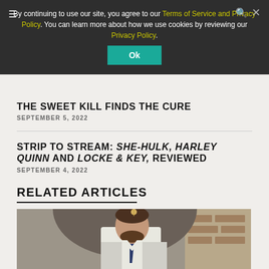By continuing to use our site, you agree to our Terms of Service and Privacy Policy. You can learn more about how we use cookies by reviewing our Privacy Policy.
THE SWEET KILL FINDS THE CURE
SEPTEMBER 5, 2022
STRIP TO STREAM: SHE-HULK, HARLEY QUINN AND LOCKE & KEY, REVIEWED
SEPTEMBER 4, 2022
RELATED ARTICLES
[Figure (photo): Photo of a bearded man in a white dress shirt with a tie, standing in what appears to be an indoor setting with arched architecture and brick walls in the background.]